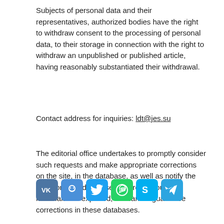Subjects of personal data and their representatives, authorized bodies have the right to withdraw consent to the processing of personal data, to their storage in connection with the right to withdraw an unpublished or published article, having reasonably substantiated their withdrawal.
Contact address for inquiries: ldt@jes.su
The editorial office undertakes to promptly consider such requests and make appropriate corrections on the site, in the database, as well as notify the scientometric databases where the journal materials are exported, but cannot guarantee corrections in these databases.
[Figure (other): Row of social media share buttons: VK (blue), OK (blue smiley), Twitter (blue bird), WhatsApp (green), Skype (blue), Telegram (blue paper plane). Plus a scroll-to-top button (grey rectangle with upward triangle arrow).]